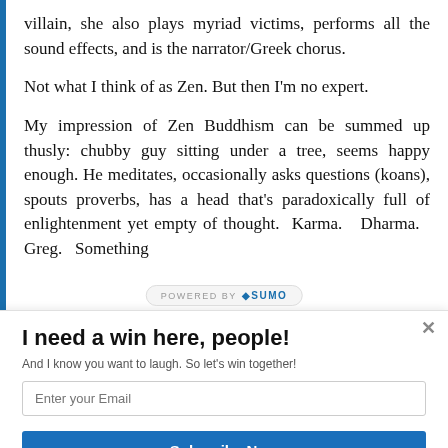villain, she also plays myriad victims, performs all the sound effects, and is the narrator/Greek chorus.

Not what I think of as Zen. But then I'm no expert.

My impression of Zen Buddhism can be summed up thusly: chubby guy sitting under a tree, seems happy enough. He meditates, occasionally asks questions (koans), spouts proverbs, has a head that's paradoxically full of enlightenment yet empty of thought. Karma. Dharma. Greg. Something
I need a win here, people!
And I know you want to laugh. So let's win together!